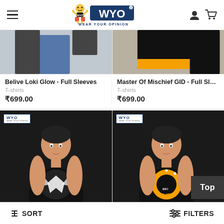[Figure (screenshot): WYO (Wear Your Opinion) e-commerce website header with hamburger menu, WYO logo with mascot, user icon and cart icon]
[Figure (photo): Partial cropped product images of two full sleeve t-shirts at the top]
Belive Loki Glow - Full Sleeves
T-shirts
₹699.00
Master Of Mischief GID - Full Sleev
T-shirts
₹699.00
[Figure (photo): Man wearing black tank top with Master of Mischief graphic design]
[Figure (photo): Man wearing black tank top with Believe graphic design featuring yellow circle and stars]
Top
↕ SORT
⊟ FILTERS